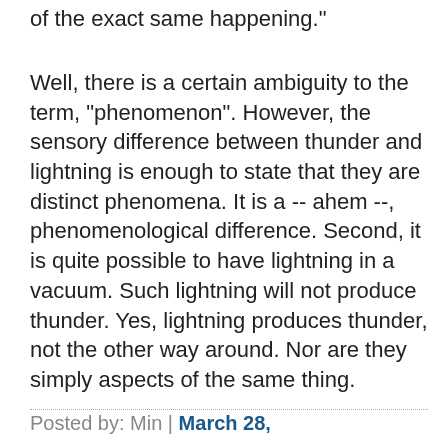of the exact same happening."
Well, there is a certain ambiguity to the term, "phenomenon". However, the sensory difference between thunder and lightning is enough to state that they are distinct phenomena. It is a -- ahem --, phenomenological difference. Second, it is quite possible to have lightning in a vacuum. Such lightning will not produce thunder. Yes, lightning produces thunder, not the other way around. Nor are they simply aspects of the same thing.
Posted by: Min | March 28,